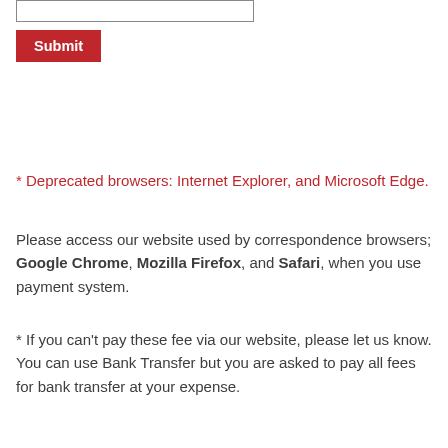[input field]
Submit
* Deprecated browsers: Internet Explorer, and Microsoft Edge.
Please access our website used by correspondence browsers; Google Chrome, Mozilla Firefox, and Safari, when you use payment system.
* If you can't pay these fee via our website, please let us know. You can use Bank Transfer but you are asked to pay all fees for bank transfer at your expense.